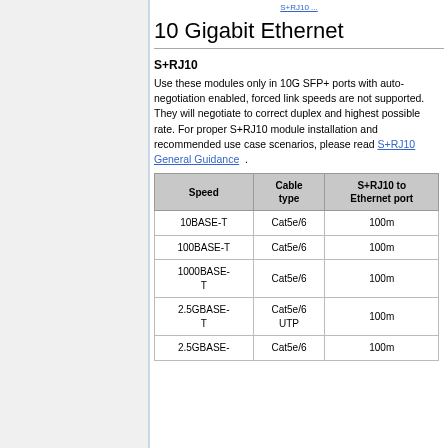S+RJ10 ...
10 Gigabit Ethernet
S+RJ10
Use these modules only in 10G SFP+ ports with auto-negotiation enabled, forced link speeds are not supported. They will negotiate to correct duplex and highest possible rate. For proper S+RJ10 module installation and recommended use case scenarios, please read S+RJ10 General Guidance .
| Speed | Cable type | S+RJ10 to Ethernet port |
| --- | --- | --- |
| 10BASE-T | Cat5e/6 | 100m |
| 100BASE-T | Cat5e/6 | 100m |
| 1000BASE-T | Cat5e/6 | 100m |
| 2.5GBASE-T | Cat5e/6 UTP | 100m |
| 2.5GBASE- | Cat5e/6 | 100m |